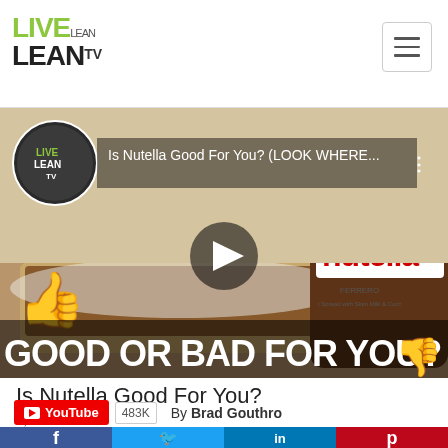LIVE LEAN TV
[Figure (screenshot): YouTube video thumbnail for 'Is Nutella Good For You? (LOOK WHERE...)' showing a jar of Nutella and bread spread with Nutella, with text overlay 'GOOD OR BAD FOR YOU?' and thumbs up/down emoji, play button in center, Live Lean TV channel icon in top left.]
Is Nutella Good For You?
2,850 Views
YouTube 483K  By Brad Gouthro